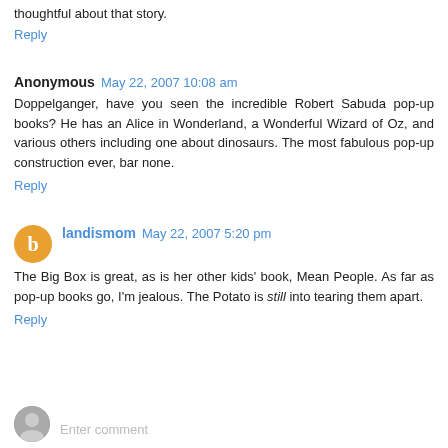thoughtful about that story.
Reply
Anonymous  May 22, 2007 10:08 am
Doppelganger, have you seen the incredible Robert Sabuda pop-up books? He has an Alice in Wonderland, a Wonderful Wizard of Oz, and various others including one about dinosaurs. The most fabulous pop-up construction ever, bar none.
Reply
landismom  May 22, 2007 5:20 pm
The Big Box is great, as is her other kids' book, Mean People. As far as pop-up books go, I'm jealous. The Potato is still into tearing them apart.
Reply
Enter comment